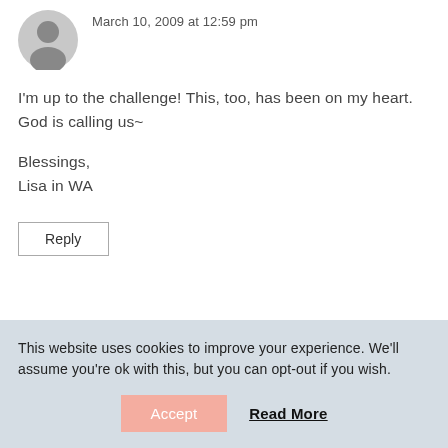[Figure (illustration): User avatar silhouette icon (gray circle with person outline)]
March 10, 2009 at 12:59 pm
I'm up to the challenge! This, too, has been on my heart. God is calling us~
Blessings,
Lisa in WA
Reply
This website uses cookies to improve your experience. We'll assume you're ok with this, but you can opt-out if you wish.
Accept
Read More